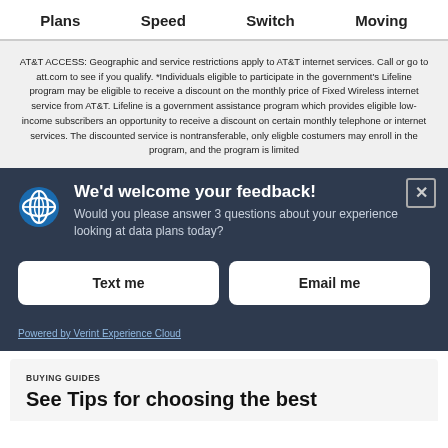Plans   Speed   Switch   Moving
AT&T ACCESS: Geographic and service restrictions apply to AT&T internet services. Call or go to att.com to see if you qualify. *Individuals eligible to participate in the government's Lifeline program may be eligible to receive a discount on the monthly price of Fixed Wireless internet service from AT&T. Lifeline is a government assistance program which provides eligible low-income subscribers an opportunity to receive a discount on certain monthly telephone or internet services. The discounted service is nontransferable, only eligble costumers may enroll in the program, and the program is limited
[Figure (screenshot): AT&T feedback popup dialog with dark navy background. Contains AT&T globe logo, title 'We'd welcome your feedback!', subtitle 'Would you please answer 3 questions about your experience looking at data plans today?', and two white buttons labeled 'Text me' and 'Email me'. A close button (X) is in the top right corner. Bottom bar shows 'Powered by Verint Experience Cloud' link.]
BUYING GUIDES
See Tips for choosing the best